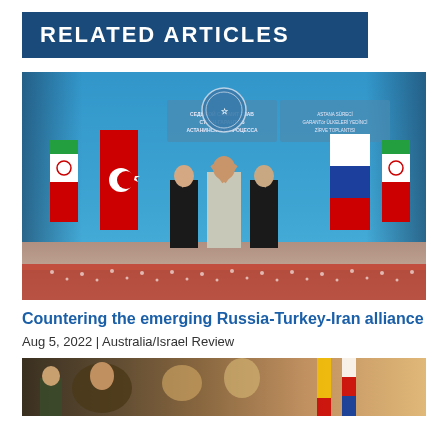RELATED ARTICLES
[Figure (photo): Three leaders — Putin, Iranian President Raisi, and Erdogan — posing together at the Astana Process summit in Tehran, 2022, with Iranian, Turkish, and Russian flags in background, and banners in Russian and Turkish reading 'Seventh Summit of Guarantor States of the Astana Process']
Countering the emerging Russia-Turkey-Iran alliance
Aug 5, 2022 | Australia/Israel Review
[Figure (photo): Partial view of a second related article photo showing figures in what appears to be an official/diplomatic setting]